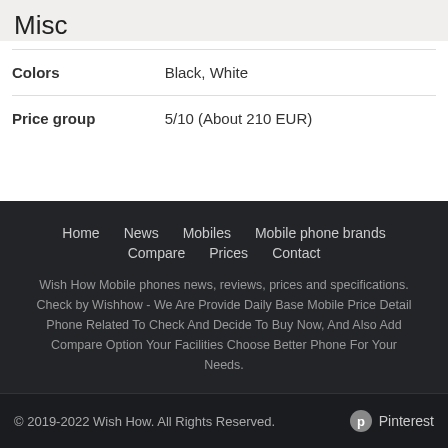Misc
| Colors | Black, White |
| Price group | 5/10 (About 210 EUR) |
Home  News  Mobiles  Mobile phone brands  Compare  Prices  Contact
Wish How Mobile phones news, reviews, prices and specifications. Check by Wishhow - We Are Provide Daily Base Mobile Price Detail Phone Related To Check And Decide To Buy Now, And Also Add Compare Option Your Facilities Choose Better Phone For Your Needs.
© 2019-2022 Wish How. All Rights Reserved.  Pinterest